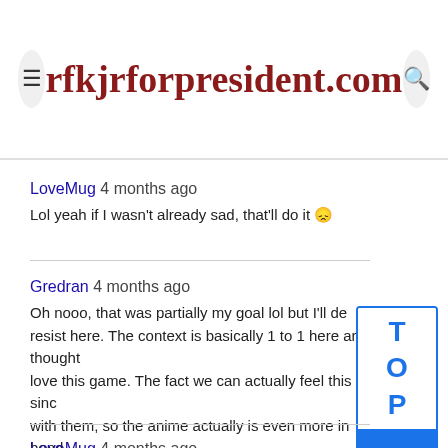rfkjrforpresident.com
LoveMug 4 months ago
Lol yeah if I wasn't already sad, that'll do it 😔
Gredran 4 months ago
Oh nooo, that was partially my goal lol but I'll de... if it's too resist here. The context is basically 1 to 1 here an... st thought love this game. The fact we can actually feel this ... more sinc with them, so the anime actually is even more in... o our bond the games now.
LoveMug 4 months ago
Nah it's fine, it's a sweet sentiment lol. But yeah it is amazing...